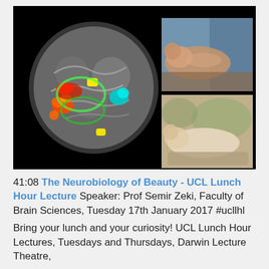[Figure (screenshot): Video thumbnail with black background. Left side shows a brain MRI scan with colorful activation overlays (orange, red, yellow, cyan, green, teal). Right side shows two paintings stacked vertically: top is a classical reclining nude painting, bottom is another classical nude painting.]
41:08 The Neurobiology of Beauty - UCL Lunch Hour Lecture Speaker: Prof Semir Zeki, Faculty of Brain Sciences, Tuesday 17th January 2017 #ucllhl
Bring your lunch and your curiosity! UCL Lunch Hour Lectures, Tuesdays and Thursdays, Darwin Lecture Theatre,
...